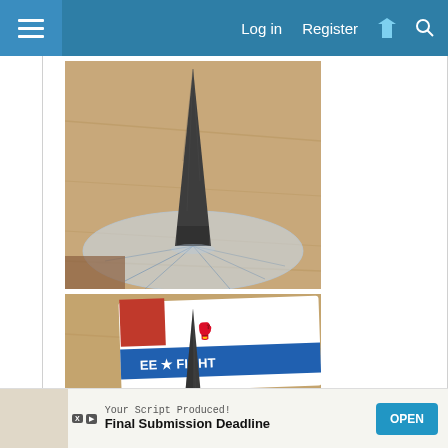Log in  Register
[Figure (photo): Close-up photo of a dark gray pointed cone/spike resting on a reflective surface with cracked or crinkled clear material around its base, on a wooden table background]
[Figure (photo): Photo of a dark gray pointed cone/spike standing upright on a wooden table, with a 'FREE FIGHT' branded packaging/card visible in the background]
Your Script Produced! Final Submission Deadline
OPEN